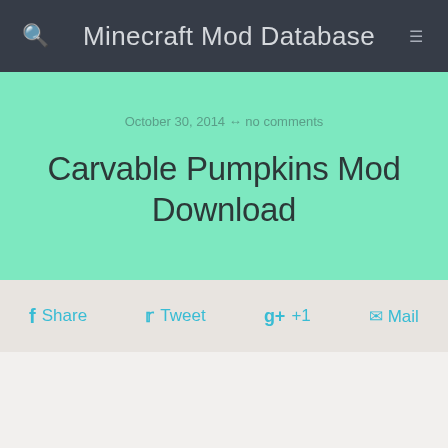Minecraft Mod Database
October 30, 2014 ↔ no comments
Carvable Pumpkins Mod Download
f Share   Tweet   g+ +1   Mail